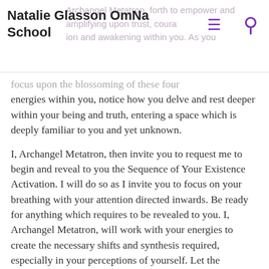Natalie Glasson OmNa School
focus upon the blossoming of these four energies within you, notice how you delve and rest deeper within your being and truth, entering a space which is deeply familiar to you and yet unknown.
I, Archangel Metatron, then invite you to request me to begin and reveal to you the Sequence of Your Existence Activation. I will do so as I invite you to focus on your breathing with your attention directed inwards. Be ready for anything which requires to be revealed to you. I, Archangel Metatron, will work with your energies to create the necessary shifts and synthesis required, especially in your perceptions of yourself. Let the activation be